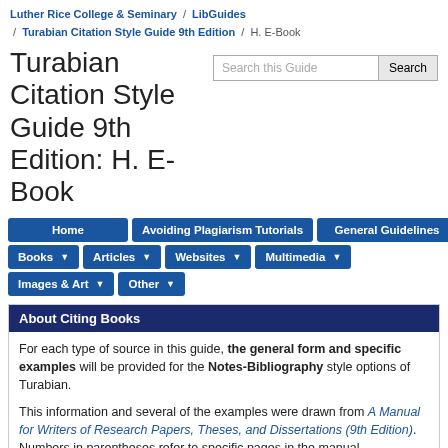Luther Rice College & Seminary / LibGuides / Turabian Citation Style Guide 9th Edition / H. E-Book
Turabian Citation Style Guide 9th Edition: H. E-Book
Home
Avoiding Plagiarism Tutorials
General Guidelines
Books
Articles
Websites
Multimedia
Images & Art
Other
About Citing Books
For each type of source in this guide, the general form and specific examples will be provided for the Notes-Bibliography style options of Turabian.
This information and several of the examples were drawn from A Manual for Writers of Research Papers, Theses, and Dissertations (9th Edition). Numbers in parentheses refer to specific pages in the manual.
[Figure (photo): Book cover thumbnail showing red cover with text 'Kate L. Turabian A Manual...']